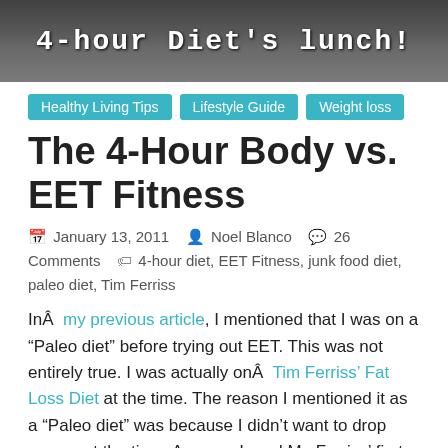[Figure (photo): Header image with dark background showing '4-hour Diet's lunch!' text in monospace font, with food-related imagery in the background]
Healthy Living Tips
Lifestyle Guide
Weight loss
The 4-Hour Body vs. EET Fitness
January 13, 2011   Noel Blanco   26 Comments   4-hour diet, EET Fitness, junk food diet, paleo diet, Tim Ferriss
In  my previous article, I mentioned that I was on a “Paleo diet” before trying out EET. This was not entirely true. I was actually on  Tim Ferriss’ Fat Loss Diet at the time. The reason I mentioned it as a “Paleo diet” was because I didn’t want to drop names at the time. Anyway, I read Mr. Ferriss’ first book,  The 4-Hour Workweek less than a year ago and very much liked it. I then became a regular reader of his blog where I became fascinated with